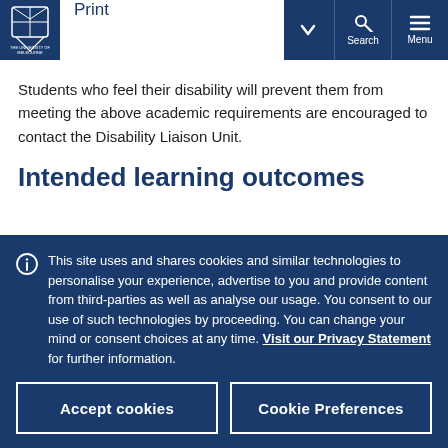Print | Search | Menu
Students who feel their disability will prevent them from meeting the above academic requirements are encouraged to contact the Disability Liaison Unit.
Intended learning outcomes
This site uses and shares cookies and similar technologies to personalise your experience, advertise to you and provide content from third-parties as well as analyse our usage. You consent to our use of such technologies by proceeding. You can change your mind or consent choices at any time. Visit our Privacy Statement for further information.

Accept cookies | Cookie Preferences